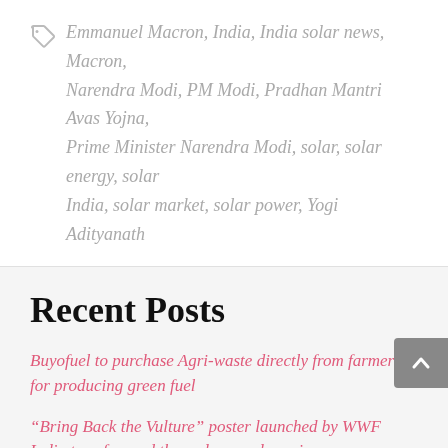Emmanuel Macron, India, India solar news, Macron, Narendra Modi, PM Modi, Pradhan Mantri Avas Yojna, Prime Minister Narendra Modi, solar, solar energy, solar India, solar market, solar power, Yogi Adityanath
Recent Posts
Buyofuel to purchase Agri-waste directly from farmers for producing green fuel
“Bring Back the Vulture” poster launched by WWF India to safeguard the endangered species
Fortum sells its e-mobility business for approximately EUR 75 million
30000 Tonnes of the Sugarback Train Tanzania Delhi will...